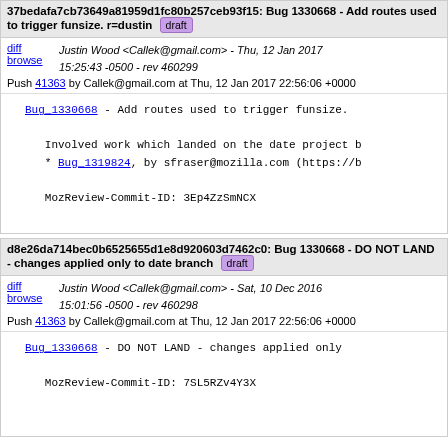37bedafa7cb73649a81959d1fc80b257ceb93f15: Bug 1330668 - Add routes used to trigger funsize. r=dustin [draft]
diff browse | Justin Wood <Callek@gmail.com> - Thu, 12 Jan 2017 15:25:43 -0500 - rev 460299 | Push 41363 by Callek@gmail.com at Thu, 12 Jan 2017 22:56:06 +0000
Bug_1330668 - Add routes used to trigger funsize.

Involved work which landed on the date project b
* Bug_1319824, by sfraser@mozilla.com (https://b

MozReview-Commit-ID: 3Ep4ZzSmNCX
d8e26da714bec0b6525655d1e8d920603d7462c0: Bug 1330668 - DO NOT LAND - changes applied only to date branch [draft]
diff browse | Justin Wood <Callek@gmail.com> - Sat, 10 Dec 2016 15:01:56 -0500 - rev 460298 | Push 41363 by Callek@gmail.com at Thu, 12 Jan 2017 22:56:06 +0000
Bug_1330668 - DO NOT LAND - changes applied only

MozReview-Commit-ID: 7SL5RZv4Y3X
(0) -300000 -100000 -30000 -10000 -3000 -1000 -300 -100 -50 -20 +20 +50 +100 +300 +1000 +3000 +10000 +30000 +100000 +300000 tip
gecko  Deployed from 18d8b634a3eb at 2022-06-27T19:41:41Z.